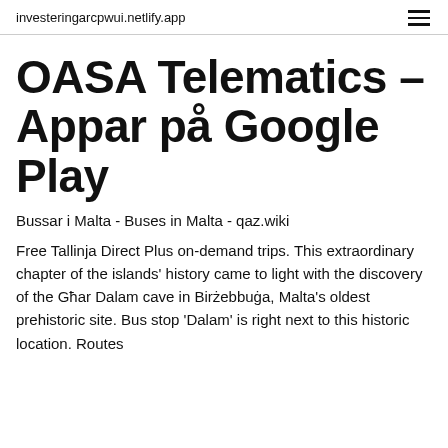investeringarcpwui.netlify.app
OASA Telematics – Appar på Google Play
Bussar i Malta - Buses in Malta - qaz.wiki
Free Tallinja Direct Plus on-demand trips. This extraordinary chapter of the islands' history came to light with the discovery of the Għar Dalam cave in Birżebbuġa, Malta's oldest prehistoric site. Bus stop 'Dalam' is right next to this historic location. Routes